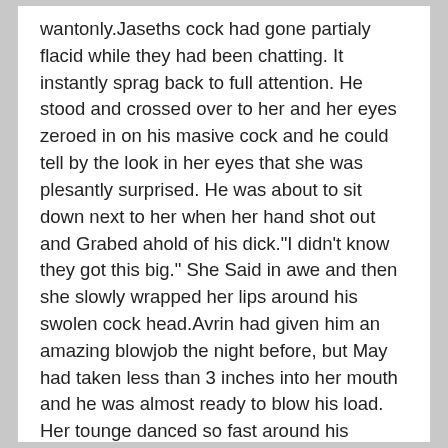wantonly.Jaseths cock had gone partialy flacid while they had been chatting. It instantly sprag back to full attention. He stood and crossed over to her and her eyes zeroed in on his masive cock and he could tell by the look in her eyes that she was plesantly surprised. He was about to sit down next to her when her hand shot out and Grabed ahold of his dick."I didn't know they got this big." She Said in awe and then she slowly wrapped her lips around his swolen cock head.Avrin had given him an amazing blowjob the night before, but May had taken less than 3 inches into her mouth and he was almost ready to blow his load. Her tounge danced so fast around his dickhead it felt like it was everwhere at once. "You Better slow down or this will not last long." He